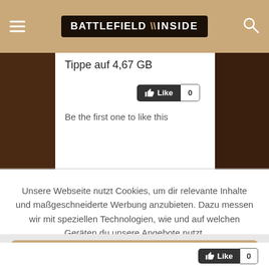BATTLEFIELD INSIDE
Tippe auf 4,67 GB
Like 0
Be the first one to like this
Unsere Webseite nutzt Cookies, um dir relevante Inhalte und maßgeschneiderte Werbung anzubieten. Dazu messen wir mit speziellen Technologien, wie und auf welchen Geräten du unsere Angebote nutzt.
Cookies akzeptieren
Einstellungen
Like 0